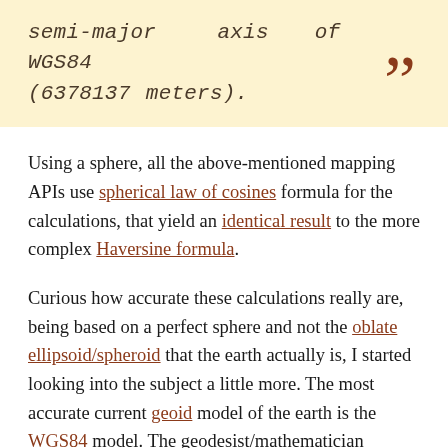semi-major axis of WGS84 (6378137 meters).”
Using a sphere, all the above-mentioned mapping APIs use spherical law of cosines formula for the calculations, that yield an identical result to the more complex Haversine formula.
Curious how accurate these calculations really are, being based on a perfect sphere and not the oblate ellipsoid/spheroid that the earth actually is, I started looking into the subject a little more. The most accurate current geoid model of the earth is the WGS84 model. The geodesist/mathematician Thaddeus Vincenty published the Vincenty formulae for this type of calculation that is said to be accurate